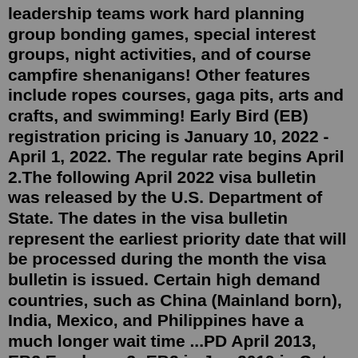leadership teams work hard planning group bonding games, special interest groups, night activities, and of course campfire shenanigans! Other features include ropes courses, gaga pits, arts and crafts, and swimming! Early Bird (EB) registration pricing is January 10, 2022 - April 1, 2022. The regular rate begins April 2.The following April 2022 visa bulletin was released by the U.S. Department of State. The dates in the visa bulletin represent the earliest priority date that will be processed during the month the visa bulletin is issued. Certain high demand countries, such as China (Mainland born), India, Mexico, and Philippines have a much longer wait time ...PD April 2013, EB2 Employer 2: EB2 in Jun 2019 in Oct 2020, Downgraded to EB3. The United States State Department has released its April 2022 Visa Bulletin. The bulletin features limited movement in Final Action Dates for most categories. However, EB-2 India advances two months in the Final Action Dates chart and a full year in the Dates for ...Today, Navy Recruiting Command released another